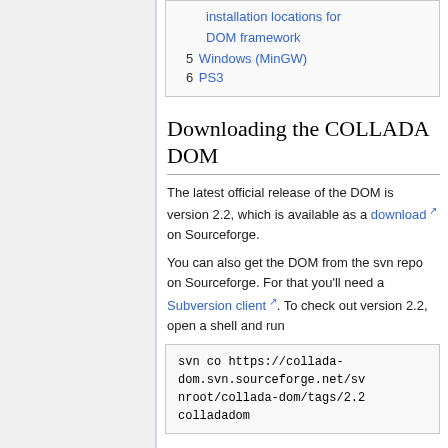| installation locations for DOM framework |
| 5  Windows (MinGW) |
| 6  PS3 |
Downloading the COLLADA DOM
The latest official release of the DOM is version 2.2, which is available as a download on Sourceforge.
You can also get the DOM from the svn repo on Sourceforge. For that you'll need a Subversion client. To check out version 2.2, open a shell and run
svn co https://collada-dom.svn.sourceforge.net/svnroot/collada-dom/tags/2.2colladadom